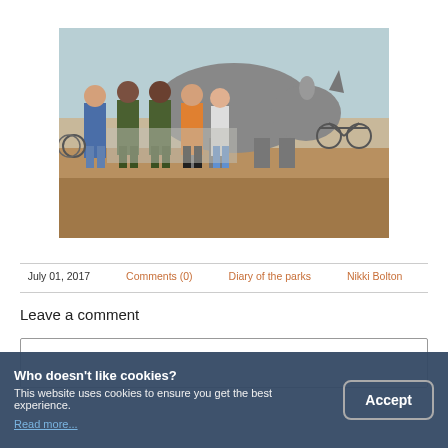[Figure (photo): Group of people standing in front of a rhinoceros in an outdoor savanna setting, with bicycles visible in the background]
July 01, 2017    Comments (0)    Diary of the parks    Nikki Bolton
Leave a comment
Who doesn't like cookies?
This website uses cookies to ensure you get the best experience.
Read more...
Accept